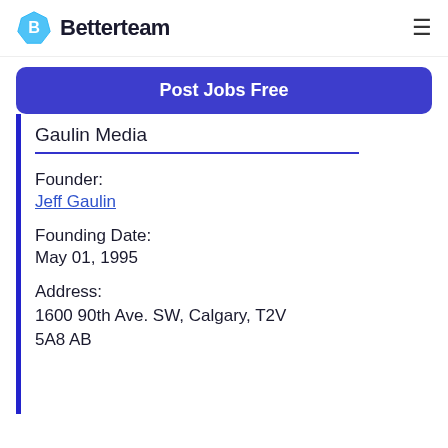Betterteam
Post Jobs Free
Gaulin Media
Founder:
Jeff Gaulin
Founding Date:
May 01, 1995
Address:
1600 90th Ave. SW, Calgary, T2V 5A8 AB